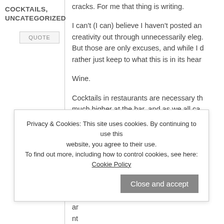COCKTAILS, UNCATEGORIZED
QUOTE
cracks. For me that thing is writing.
I can't (I can) believe I haven't posted an creativity out through unnecessarily eleg. But those are only excuses, and while I d rather just keep to what this is in its hear
Wine.
Cocktails in restaurants are necessary th much higher at the bar, and as we all ca most of us), which can bring higher chec today can be many things; Mom's Dirty C non-alcoholic cocktail full of garnishes ar awkward situation and, again, up that ch no k e er ar nt digestif– again, something to sip while w
Privacy & Cookies: This site uses cookies. By continuing to use this website, you agree to their use.
To find out more, including how to control cookies, see here: Cookie Policy
Close and accept